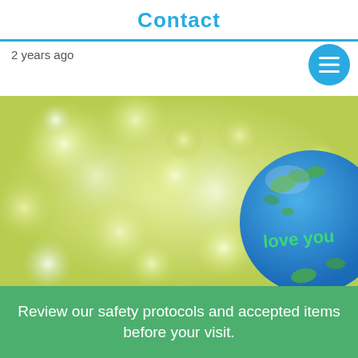Contact
2 years ago
[Figure (photo): Bokeh background with yellow-green blurred circles of light and a blue ornament ball with green accents and text 'love you' partially visible on the right side.]
Review our safety protocols and accepted items before your visit.